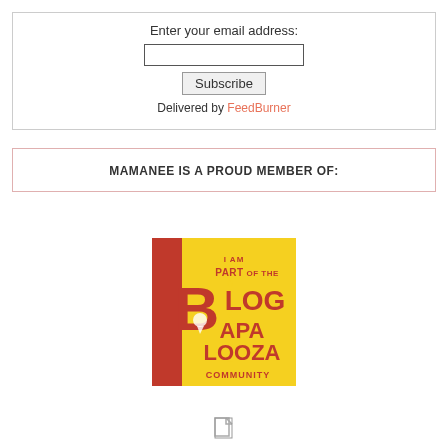Enter your email address:
Subscribe
Delivered by FeedBurner
MAMANEE IS A PROUD MEMBER OF:
[Figure (logo): Blogapalooza community badge - colorful logo with text 'I am Part of the Blogapalooza Community' on blue and yellow background with red text]
[Figure (other): Small document/page icon at bottom]